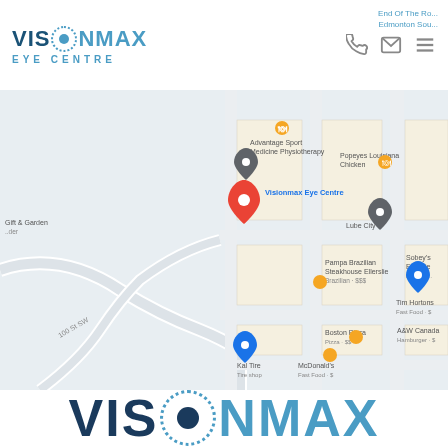[Figure (logo): VisionMax Eye Centre logo - small version in header, dark navy VISION with dotted circle eye graphic, cyan MAX text, EYE CENTRE in letter-spaced cyan below]
[Figure (screenshot): Google Maps screenshot showing Visionmax Eye Centre location marked with red pin in Edmonton area, surrounded by nearby businesses including Popeyes Louisiana Chicken, Lube City, Pampa Brazilian Steakhouse Ellerslie, Sobeys Ellerslie, Tim Hortons, Boston Pizza, A&W Canada, McDonald's, Kal Tire, and Advantage Sport Medicine Physiotherapy. Road labeled 100 St SW visible on left.]
[Figure (logo): VisionMax Eye Centre logo - large version at bottom, dark navy VISION with large dotted circle eye graphic containing dark crescent, cyan MAX text, EYE CENTRE in letter-spaced cyan below]